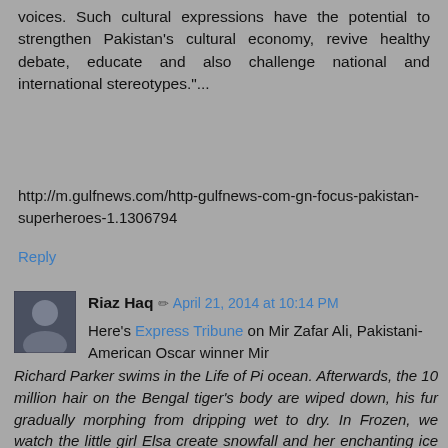voices. Such cultural expressions have the potential to strengthen Pakistan's cultural economy, revive healthy debate, educate and also challenge national and international stereotypes."...
http://m.gulfnews.com/http-gulfnews-com-gn-focus-pakistan-superheroes-1.1306794
Reply
Riaz Haq  April 21, 2014 at 10:14 PM
Here's Express Tribune on Mir Zafar Ali, Pakistani-American Oscar winner Mir
Richard Parker swims in the Life of Pi ocean. Afterwards, the 10 million hair on the Bengal tiger's body are wiped down, his fur gradually morphing from dripping wet to dry. In Frozen, we watch the little girl Elsa create snowfall and her enchanting ice world emerge. The line between fantasy and reality blurs, so real are the images. But this much is clear; the artist behind this graphic wizardry deserves the the Oscar, and he has received it.